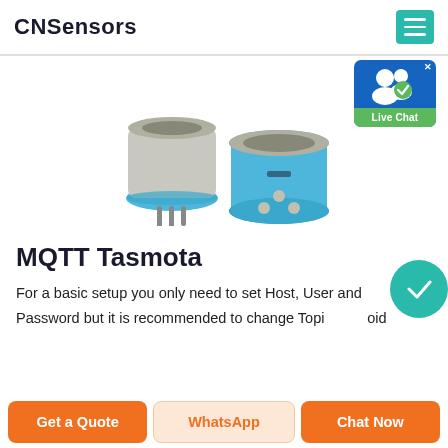CNSensors
[Figure (photo): Two gas sensor components: one shown from the side with metal cap and blue base with pins, one shown from the bottom with blue circular base and contact pins visible.]
[Figure (screenshot): Live Chat widget button with blue background, white person icon with green checkmark badge, and 'Live Chat' green label.]
MQTT Tasmota
For a basic setup you only need to set Host, User and Password but it is recommended to change Topic to avoid